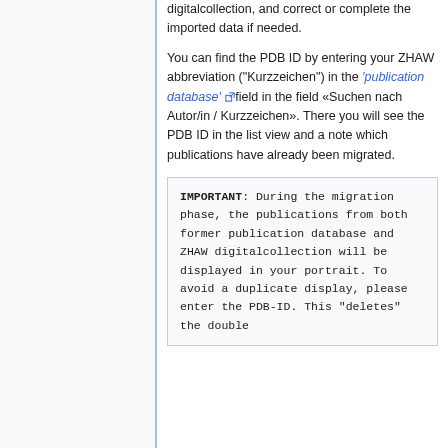digitalcollection, and correct or complete the imported data if needed.
You can find the PDB ID by entering your ZHAW abbreviation ("Kurzzeichen") in the 'publication database' field in the field «Suchen nach Autor/in / Kurzzeichen». There you will see the PDB ID in the list view and a note which publications have already been migrated.
IMPORTANT: During the migration phase, the publications from both former publication database and ZHAW digitalcollection will be displayed in your portrait. To avoid a duplicate display, please enter the PDB-ID. This "deletes" the double